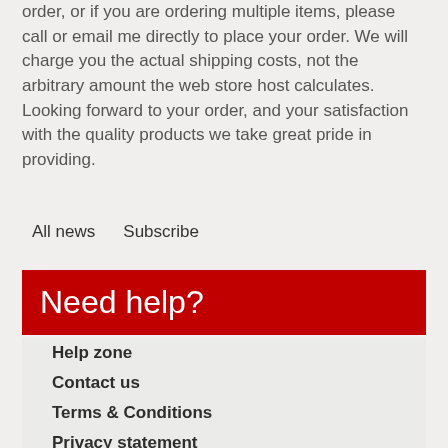order, or if you are ordering multiple items, please call or email me directly to place your order. We will charge you the actual shipping costs, not the arbitrary amount the web store host calculates. Looking forward to your order, and your satisfaction with the quality products we take great pride in providing.
All news
Subscribe
Need help?
Help zone
Contact us
Terms & Conditions
Privacy statement
Postal Agreement
Warehouse Hours
Return Policy
Part Index
Special Order Form and Policy
Domestic Order Form
Glass Policy